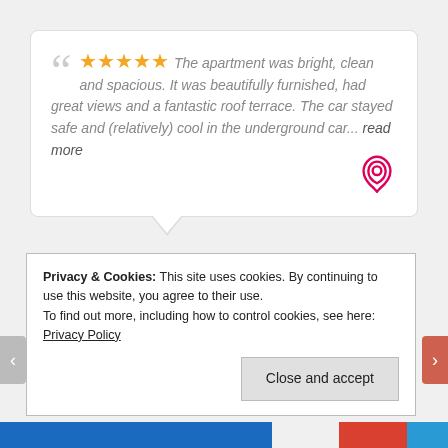The apartment was bright, clean and spacious. It was beautifully furnished, had great views and a fantastic roof terrace. The car stayed safe and (relatively) cool in the underground car... read more
[Figure (logo): Airbnb logo — stylized heart/loop icon in red outline]
[Figure (photo): Circular avatar photo of Woody (Toy Story character) wearing a cowboy hat]
STEVE
27/08/2017
Privacy & Cookies: This site uses cookies. By continuing to use this website, you agree to their use.
To find out more, including how to control cookies, see here: Privacy Policy
Close and accept